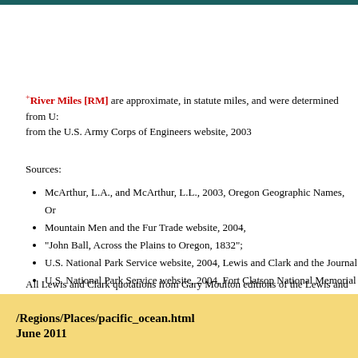*River Miles [RM] are approximate, in statute miles, and were determined from U.S. Army Corps of Engineers website, 2003
Sources:
McArthur, L.A., and McArthur, L.L., 2003, Oregon Geographic Names, Or
Mountain Men and the Fur Trade website, 2004,
"John Ball, Across the Plains to Oregon, 1832";
U.S. National Park Service website, 2004, Lewis and Clark and the Journal
U.S. National Park Service website, 2004, Fort Clatsop National Memorial
All Lewis and Clark quotations from Gary Moulton editions of the Lewis and Clark Journals. Every attempt was made to type the quotations exactly as in the Moulton editions, however typing errors may exist. Other text is interpretation from variety of sources, including this website author.
/Regions/Places/pacific_ocean.html
June 2011